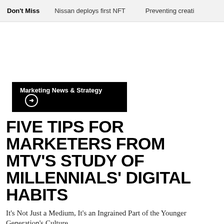Don't Miss | Nissan deploys first NFT | Preventing creati
Marketing News & Strategy →
FIVE TIPS FOR MARKETERS FROM MTV'S STUDY OF MILLENNIALS' DIGITAL HABITS
It's Not Just a Medium, It's an Ingrained Part of the Younger Generation's Culture